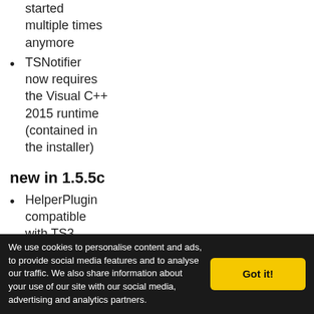started multiple times anymore
TSNotifier now requires the Visual C++ 2015 runtime (contained in the installer)
new in 1.5.5c
HelperPlugin compatible with TS3 V3.0.14(Api 20)
new in 1.5.5b
fixed problems with Final
We use cookies to personalise content and ads, to provide social media features and to analyse our traffic. We also share information about your use of our site with our social media, advertising and analytics partners.